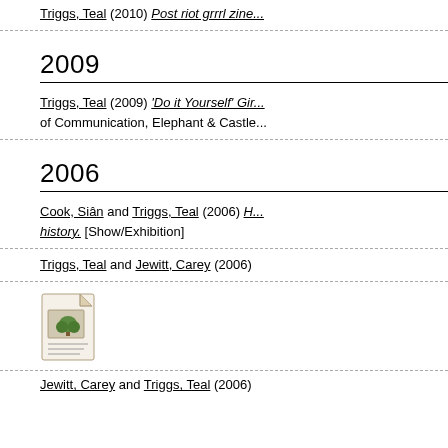Triggs, Teal (2010) Post riot grrrl zine...
2009
Triggs, Teal (2009) 'Do it Yourself' Gir... of Communication, Elephant & Castle...
2006
Cook, Siân and Triggs, Teal (2006) H... history. [Show/Exhibition]
Triggs, Teal and Jewitt, Carey (2006)
[Figure (illustration): Document icon with a tree/image thumbnail]
Jewitt, Carey and Triggs, Teal (2006)